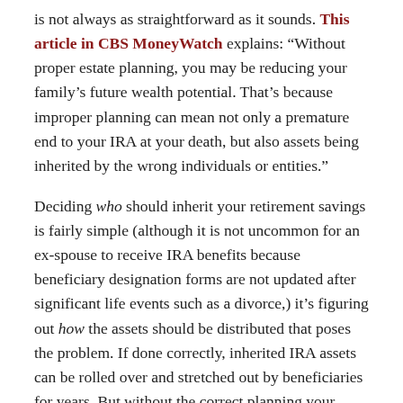is not always as straightforward as it sounds. This article in CBS MoneyWatch explains: “Without proper estate planning, you may be reducing your family’s future wealth potential. That’s because improper planning can mean not only a premature end to your IRA at your death, but also assets being inherited by the wrong individuals or entities.”
Deciding who should inherit your retirement savings is fairly simple (although it is not uncommon for an ex-spouse to receive IRA benefits because beneficiary designation forms are not updated after significant life events such as a divorce,) it’s figuring out how the assets should be distributed that poses the problem. If done correctly, inherited IRA assets can be rolled over and stretched out by beneficiaries for years. But without the correct planning your heirs may find themselves paying significant taxes on their inheritance or worse yet, unable to access the funds at all.